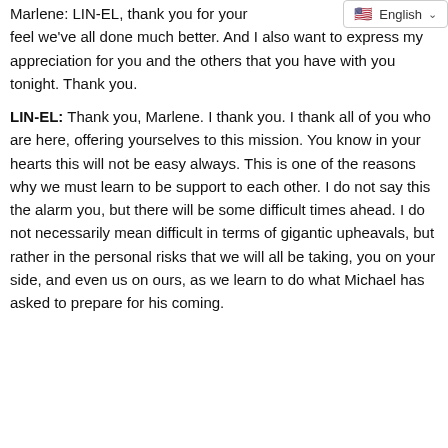Marlene: LIN-EL, thank you for your [insight] and I feel we've all done much better. And I also want to express my appreciation for you and the others that you have with you tonight. Thank you.
LIN-EL: Thank you, Marlene. I thank you. I thank all of you who are here, offering yourselves to this mission. You know in your hearts this will not be easy always. This is one of the reasons why we must learn to be support to each other. I do not say this the alarm you, but there will be some difficult times ahead. I do not necessarily mean difficult in terms of gigantic upheavals, but rather in the personal risks that we will all be taking, you on your side, and even us on ours, as we learn to do what Michael has asked to prepare for his coming.